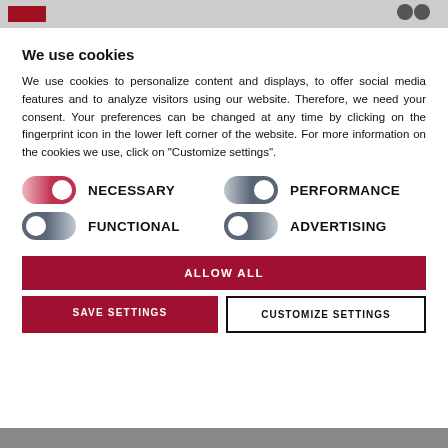We use cookies
We use cookies to personalize content and displays, to offer social media features and to analyze visitors using our website. Therefore, we need your consent. Your preferences can be changed at any time by clicking on the fingerprint icon in the lower left corner of the website. For more information on the cookies we use, click on "Customize settings".
NECESSARY
PERFORMANCE
FUNCTIONAL
ADVERTISING
ALLOW ALL
SAVE SETTINGS
CUSTOMIZE SETTINGS